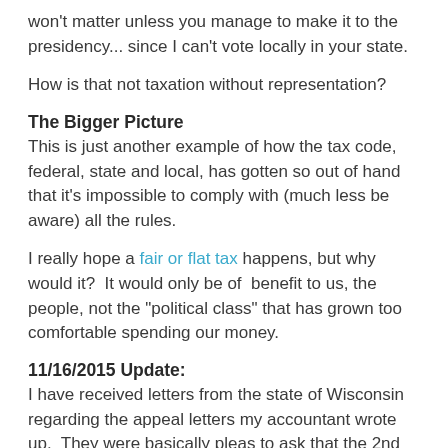won't matter unless you manage to make it to the presidency... since I can't vote locally in your state.
How is that not taxation without representation?
The Bigger Picture
This is just another example of how the tax code, federal, state and local, has gotten so out of hand that it's impossible to comply with (much less be aware) all the rules.
I really hope a fair or flat tax happens, but why would it?  It would only be of  benefit to us, the people, not the "political class" that has grown too comfortable spending our money.
11/16/2015 Update:
I have received letters from the state of Wisconsin regarding the appeal letters my accountant wrote up.  They were basically pleas to ask that the 2nd round of interest and penalties be waived since we were unaware of this law.
Of course, the request was denied and I was only given 30 days to pay from that point.   Of course, again not enough